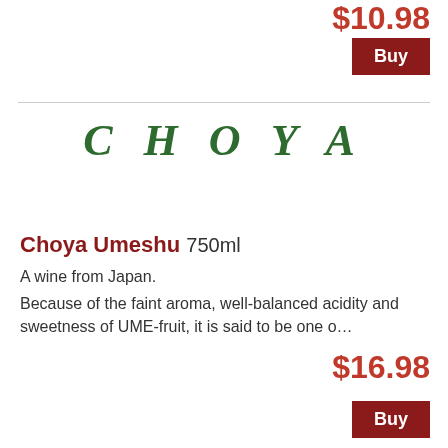$10.98
Buy
[Figure (logo): CHOYA brand logo in green serif italic letters with wide letter spacing]
Choya Umeshu 750ml
A wine from Japan.
Because of the faint aroma, well-balanced acidity and sweetness of UME-fruit, it is said to be one o…
$16.98
Buy